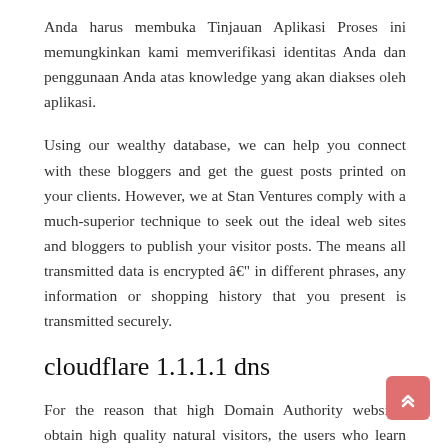Anda harus membuka Tinjauan Aplikasi Proses ini memungkinkan kami memverifikasi identitas Anda dan penggunaan Anda atas knowledge yang akan diakses oleh aplikasi.
Using our wealthy database, we can help you connect with these bloggers and get the guest posts printed on your clients. However, we at Stan Ventures comply with a much-superior technique to seek out the ideal web sites and bloggers to publish your visitor posts. The means all transmitted data is encrypted â€" in different phrases, any information or shopping history that you present is transmitted securely.
cloudflare 1.1.1.1 dns
For the reason that high Domain Authority websites obtain high quality natural visitors, the users who learn your visitor post could go to your web site. Authors usually are not compensated for guest posts. The authority of a web page with the article – what